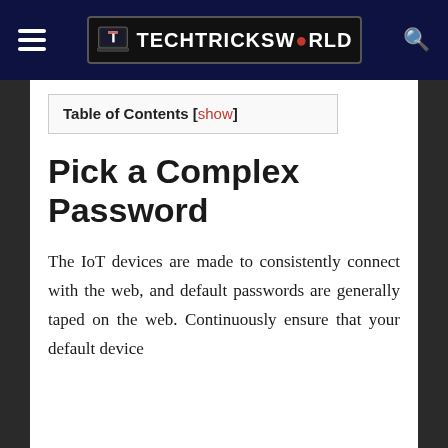TECHTRICKSWORLD
Table of Contents [show]
Pick a Complex Password
The IoT devices are made to consistently connect with the web, and default passwords are generally taped on the web. Continuously ensure that your default device